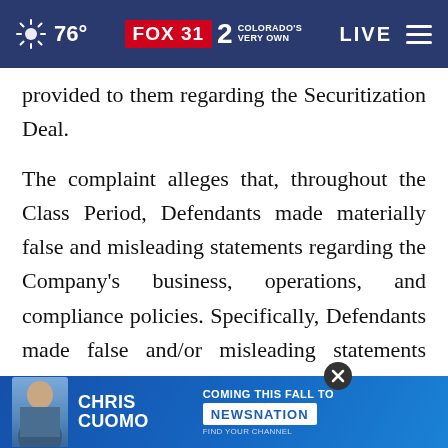76° FOX 31 2 COLORADO'S VERY OWN LIVE
provided to them regarding the Securitization Deal.
The complaint alleges that, throughout the Class Period, Defendants made materially false and misleading statements regarding the Company's business, operations, and compliance policies. Specifically, Defendants made false and/or misleading statements and/or failed to disclose that: (i) Credit Suisse had deficient procedures and internal control over financial reporting; (ii)
[Figure (screenshot): FOX31 / NewsNation advertisement banner for Chris Cuomo show 'Coming This Fall To NewsNation']